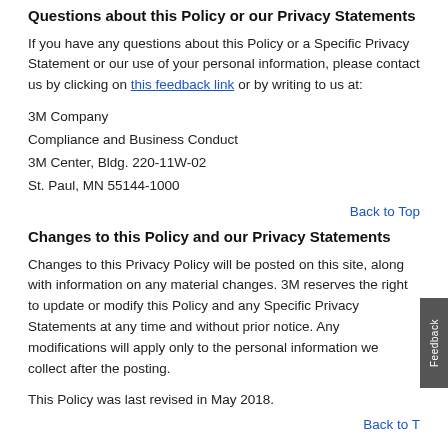Questions about this Policy or our Privacy Statements
If you have any questions about this Policy or a Specific Privacy Statement or our use of your personal information, please contact us by clicking on this feedback link or by writing to us at:
3M Company
Compliance and Business Conduct
3M Center, Bldg. 220-11W-02
St. Paul, MN 55144-1000
Back to Top
Changes to this Policy and our Privacy Statements
Changes to this Privacy Policy will be posted on this site, along with information on any material changes. 3M reserves the right to update or modify this Policy and any Specific Privacy Statements at any time and without prior notice. Any modifications will apply only to the personal information we collect after the posting.
This Policy was last revised in May 2018.
Back to Top